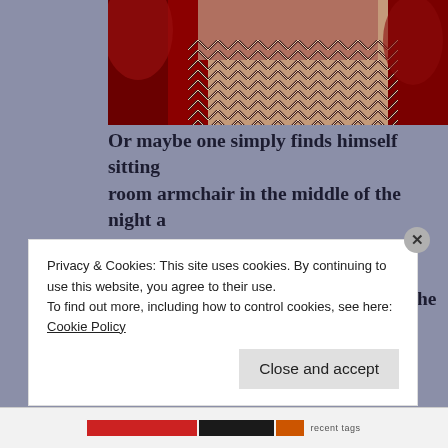[Figure (photo): Photo showing red curtains on the left and a zigzag chevron patterned floor/carpet in red and white, reminiscent of the Red Room from Twin Peaks.]
Or maybe one simply finds himself sitting in a room armchair in the middle of the night and captured by a horrible, corrosive perception of what brought him to that point in his life, the ho… friends, missed appointments, broken hea… who can listen to him, begs for everything…
Privacy & Cookies: This site uses cookies. By continuing to use this website, you agree to their use.
To find out more, including how to control cookies, see here: Cookie Policy
Close and accept